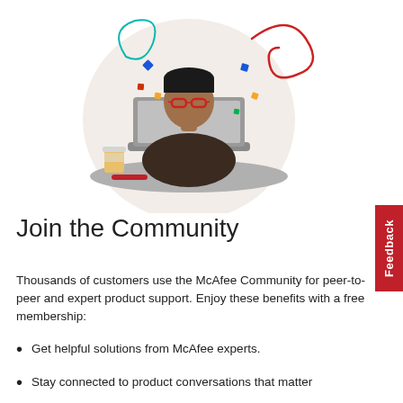[Figure (illustration): Illustration of a man with red glasses sitting at a desk with a laptop, a coffee cup, and a smartphone. Decorative colorful swirls, squares, and dots surround him against a light beige circular background.]
Join the Community
Thousands of customers use the McAfee Community for peer-to-peer and expert product support. Enjoy these benefits with a free membership:
Get helpful solutions from McAfee experts.
Stay connected to product conversations that matter